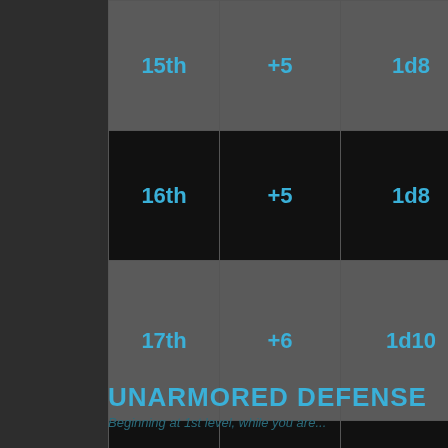| Level | Prof. Bonus | Martial Arts | Unarmored Movement |  |
| --- | --- | --- | --- | --- |
| 15th | +5 | 1d8 | 15 | +25 f |
| 16th | +5 | 1d8 | 16 | +25 f |
| 17th | +6 | 1d10 | 17 | +25 f |
| 18th | +6 | 1d10 | 18 | +30 f |
| 19th | +6 | 1d10 | 19 | +30 f |
| 20th | +6 | 1d10 | 20 | +30 f |
UNARMORED DEFENSE